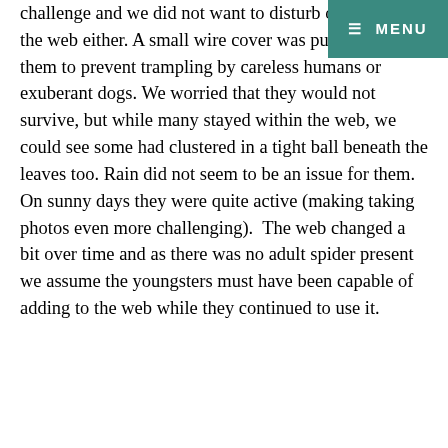challenge and we did not want to disturb or damage the web either. A small wire cover was put around them to prevent trampling by careless humans or exuberant dogs. We worried that they would not survive, but while many stayed within the web, we could see some had clustered in a tight ball beneath the leaves too. Rain did not seem to be an issue for them. On sunny days they were quite active (making taking photos even more challenging).  The web changed a bit over time and as there was no adult spider present we assume the youngsters must have been capable of adding to the web while they continued to use it.
[Figure (other): Teal/green navigation menu bar in top-right corner showing hamburger icon and MENU text in white on teal background]